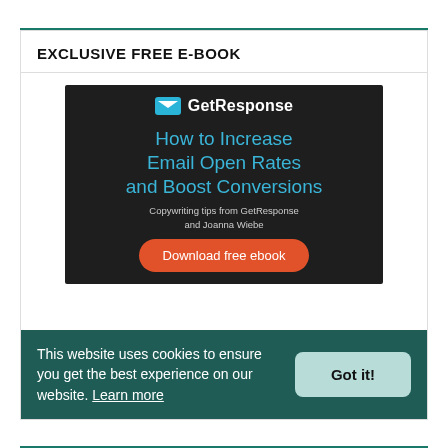EXCLUSIVE FREE E-BOOK
[Figure (illustration): GetResponse e-book cover with dark background showing a cyan/blue headline 'How to Increase Email Open Rates and Boost Conversions', subtitle 'Copywriting tips from GetResponse and Joanna Wiebe', and an orange 'Download free ebook' button, with the GetResponse logo at the top.]
This website uses cookies to ensure you get the best experience on our website. Learn more
Got it!